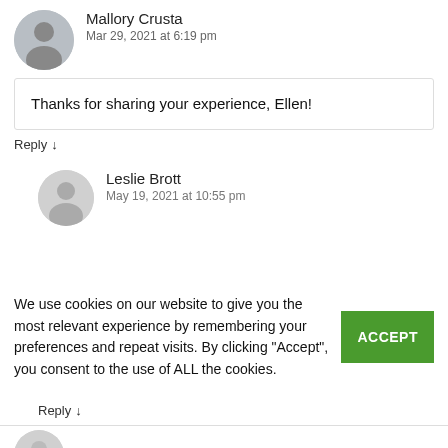Mallory Crusta
Mar 29, 2021 at 6:19 pm
Thanks for sharing your experience, Ellen!
Reply ↓
Leslie Brott
May 19, 2021 at 10:55 pm
We use cookies on our website to give you the most relevant experience by remembering your preferences and repeat visits. By clicking "Accept", you consent to the use of ALL the cookies.
My cat uses a lot and largo. Can you recommend the Breeze system for him?
Reply ↓
Kate Barrington Post author